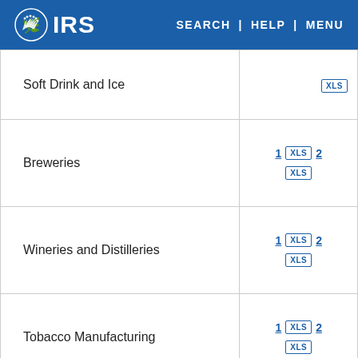IRS | SEARCH | HELP | MENU
| Industry | Files |
| --- | --- |
| Soft Drink and Ice | XLS |
| Breweries | 1 XLS 2 / XLS |
| Wineries and Distilleries | 1 XLS 2 / XLS |
| Tobacco Manufacturing | 1 XLS 2 / XLS |
| Textile Mills and Textile Product Mills | 1 XLS 2 / XLS |